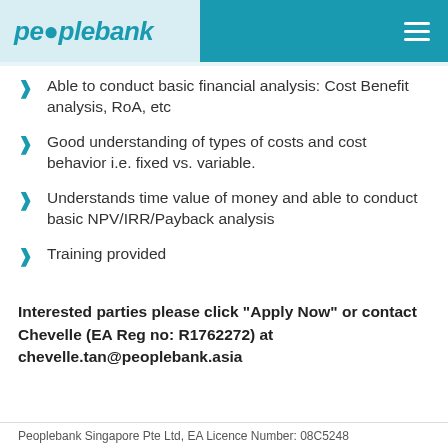peoplebank
Able to conduct basic financial analysis: Cost Benefit analysis, RoA, etc
Good understanding of types of costs and cost behavior i.e. fixed vs. variable.
Understands time value of money and able to conduct basic NPV/IRR/Payback analysis
Training provided
Interested parties please click "Apply Now" or contact Chevelle (EA Reg no: R1762272) at chevelle.tan@peoplebank.asia
Peoplebank Singapore Pte Ltd, EA Licence Number: 08C5248